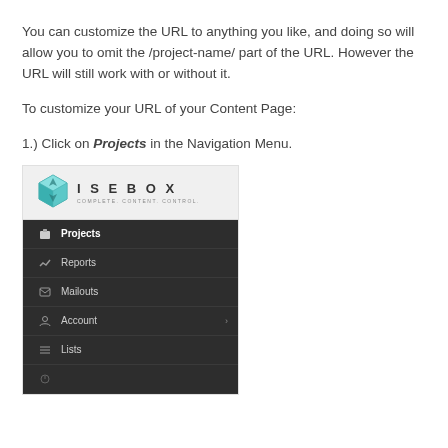You can customize the URL to anything you like, and doing so will allow you to omit the /project-name/ part of the URL. However the URL will still work with or without it.
To customize your URL of your Content Page:
1.) Click on Projects in the Navigation Menu.
[Figure (screenshot): Screenshot of the ISEBOX application interface showing the navigation menu with items: Projects (highlighted/active), Reports, Mailouts, Account (with arrow), Lists, and partially visible item at bottom.]